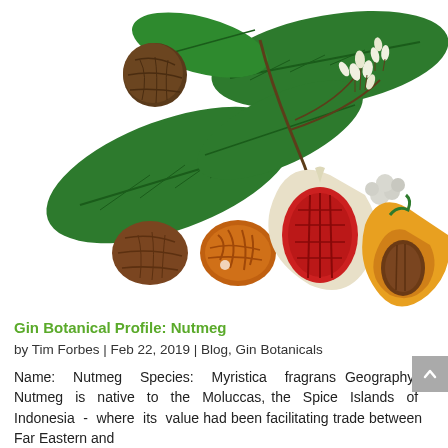[Figure (illustration): Botanical illustration of nutmeg plant (Myristica fragrans) showing green leaves, white flower clusters, whole nutmeg fruit, cross-sections revealing red mace and seed, and an orange-yellow opened fruit.]
Gin Botanical Profile: Nutmeg
by Tim Forbes | Feb 22, 2019 | Blog, Gin Botanicals
Name: Nutmeg Species: Myristica fragrans Geography: Nutmeg is native to the Moluccas, the Spice Islands of Indonesia - where its value had been facilitating trade between Far Eastern and